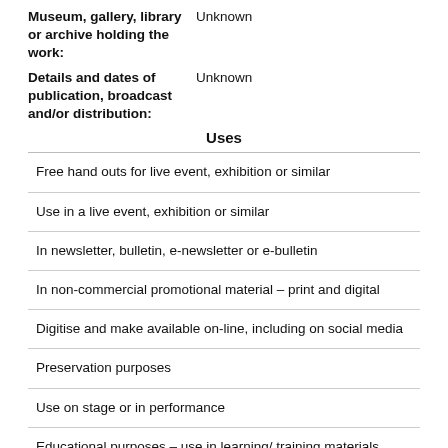Museum, gallery, library or archive holding the work: Unknown
Details and dates of publication, broadcast and/or distribution: Unknown
Uses
Free hand outs for live event, exhibition or similar
Use in a live event, exhibition or similar
In newsletter, bulletin, e-newsletter or e-bulletin
In non-commercial promotional material – print and digital
Digitise and make available on-line, including on social media
Preservation purposes
Use on stage or in performance
Educational purposes – use in learning/ training materials,